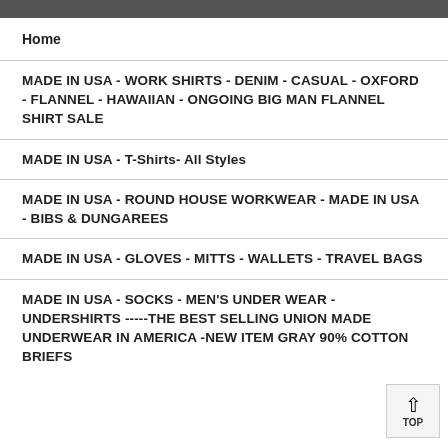Home
MADE IN USA - WORK SHIRTS - DENIM - CASUAL - OXFORD - FLANNEL - HAWAIIAN - ONGOING BIG MAN FLANNEL SHIRT SALE
MADE IN USA - T-Shirts- All Styles
MADE IN USA - ROUND HOUSE WORKWEAR - MADE IN USA - BIBS & DUNGAREES
MADE IN USA - GLOVES - MITTS - WALLETS - TRAVEL BAGS
MADE IN USA - SOCKS - MEN'S UNDER WEAR - UNDERSHIRTS -----THE BEST SELLING UNION MADE UNDERWEAR IN AMERICA -NEW ITEM GRAY 90% COTTON BRIEFS